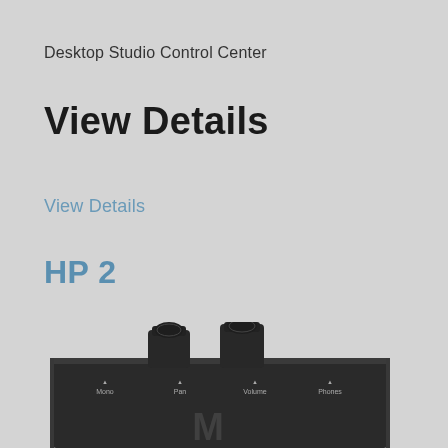Desktop Studio Control Center
View Details
View Details
HP 2
[Figure (photo): Photo of the HP 2 headphone amplifier device, a dark/black rectangular unit with two knobs on top and four controls labeled Mono, Pan, Volume, and Phones on the front panel, along with a stylized 'M' logo at the bottom.]